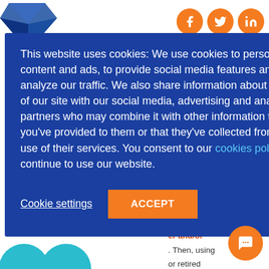[Figure (screenshot): Blue origami-style logo in top-left corner]
[Figure (infographic): Three orange circular social media icons (Facebook, Twitter, LinkedIn) in top-right]
[Figure (infographic): Dark blue hamburger menu button on right side]
This website uses cookies: We use cookies to personalize content and ads, to provide social media features and to analyze our traffic. We also share information about your use of our site with our social media, advertising and analytics partners who may combine it with other information that you've provided to them or that they've collected from your use of their services. You consent to our cookies policy if you continue to use our website.
Cookie settings
ACCEPT
vileged teens adults who ited or no to a er and/or . Then, using or retired rs hardware s donated by ents, partners, oyee ors, we're g
[Figure (infographic): Orange circular chat widget in bottom-right corner]
[Figure (infographic): Teal/cyan decorative circles at bottom-left]